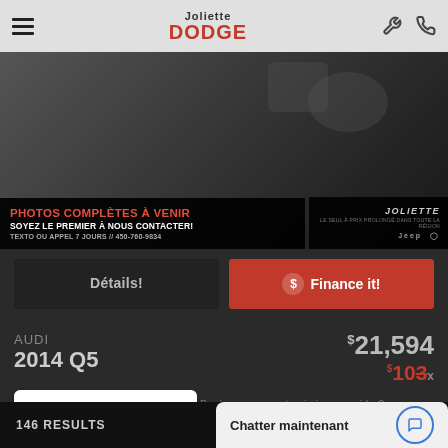Joliette DODGE [logo with badge]
[Figure (photo): Dark overhead/angled view of a vehicle (Audi Q5) with a promotional banner overlay reading 'PHOTOS COMPLÈTES À VENIR / SOYEZ LE PREMIER À NOUS CONTACTER! / TEXTO OU APPEL 7 JOURS // 450-760-9834' and a Joliette Jeep badge on the right side.]
Détails!
$ Finance it!
AUDI
2014 Q5
$21,594
$103/x
VALUE YOUR TRADE!
Bonjour, comment puis-je vous aider?
146 RESULTS
Chatter maintenant